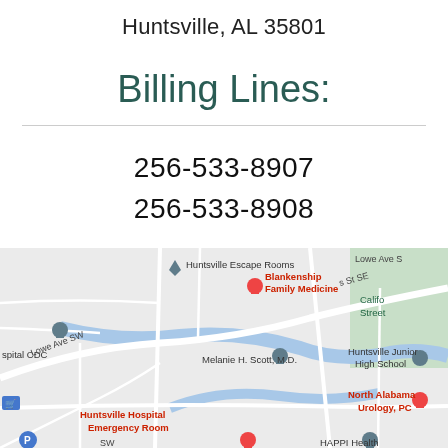Huntsville, AL 35801
Billing Lines:
256-533-8907
256-533-8908
[Figure (map): Google Maps view of Huntsville, AL area showing Blankenship Family Medicine, Melanie H. Scott M.D., Huntsville Junior High School, North Alabama Urology PC, Huntsville Hospital Emergency Room, HAPPI Health, and other local landmarks along Lowe Ave SW and surrounding streets.]